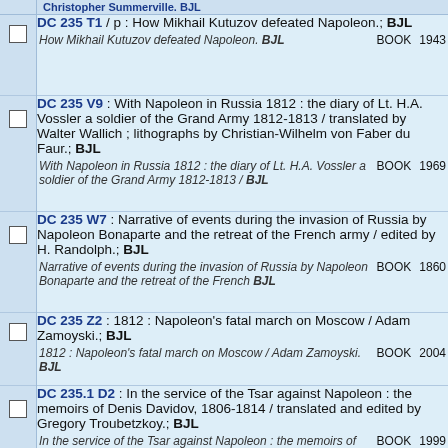DC 235 T1 / p : How Mikhail Kutuzov defeated Napoleon.; BJL
How Mikhail Kutuzov defeated Napoleon. BJL  BOOK  1943
DC 235 V9 : With Napoleon in Russia 1812 : the diary of Lt. H.A. Vossler a soldier of the Grand Army 1812-1813 / translated by Walter Wallich ; lithographs by Christian-Wilhelm von Faber du Faur.; BJL
With Napoleon in Russia 1812 : the diary of Lt. H.A. Vossler a soldier of the Grand Army 1812-1813 / BJL  BOOK  1969
DC 235 W7 : Narrative of events during the invasion of Russia by Napoleon Bonaparte and the retreat of the French army / edited by H. Randolph.; BJL
Narrative of events during the invasion of Russia by Napoleon Bonaparte and the retreat of the French BJL  BOOK  1860
DC 235 Z2 : 1812 : Napoleon's fatal march on Moscow / Adam Zamoyski.; BJL
1812 : Napoleon's fatal march on Moscow / Adam Zamoyski. BJL  BOOK  2004
DC 235.1 D2 : In the service of the Tsar against Napoleon : the memoirs of Denis Davidov, 1806-1814 / translated and edited by Gregory Troubetzkoy.; BJL
In the service of the Tsar against Napoleon : the memoirs of Denis Davidov, 1806-1814 / translated an BJL  BOOK  1999
DC 235.5 B47 M6 : The Battle of the Berezina : Napoleon's great escape / by Alexander Mikaberidze.; BJL
The Battle of the Berezina : Napoleon's great escape / by  BOOK  201x